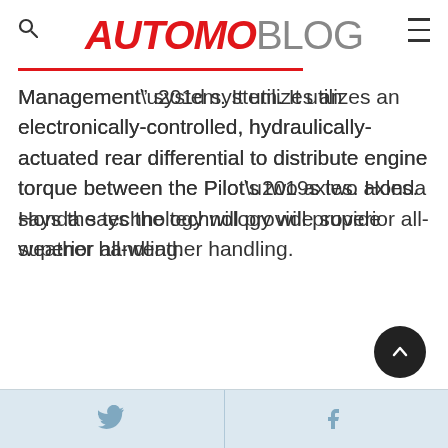AUTOMOBLOG
Management” system. It utilizes an electronically-controlled, hydraulically-actuated rear differential to distribute engine torque between the Pilot’s two axles. Honda says the technology will provide superior all-weather handling.
Twitter | Facebook